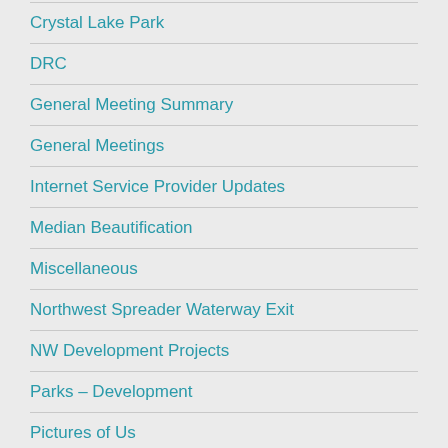Crystal Lake Park
DRC
General Meeting Summary
General Meetings
Internet Service Provider Updates
Median Beautification
Miscellaneous
Northwest Spreader Waterway Exit
NW Development Projects
Parks – Development
Pictures of Us
Resort at Tranquility Lake